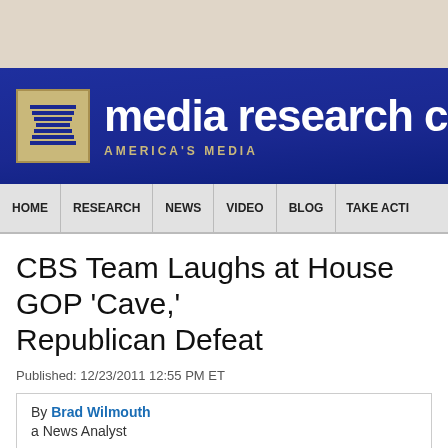[Figure (logo): Media Research Center logo banner with blue background, MRC logo box, and text 'media research ce[nter]' with subtitle 'AMERICA'S MEDIA']
HOME | RESEARCH | NEWS | VIDEO | BLOG | TAKE ACTI[ON]
CBS Team Laughs at House GOP 'Cave,' Republican Defeat
Published: 12/23/2011 12:55 PM ET
By Brad Wilmouth
a News Analyst
Tweet 0   Email 0   Share New